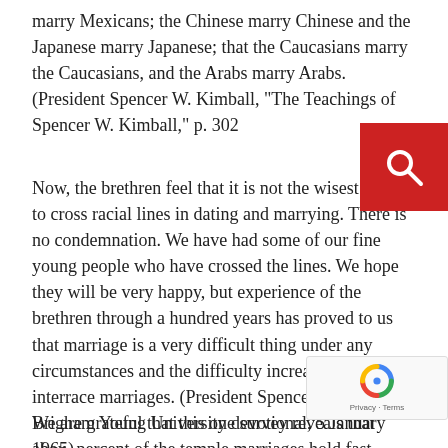marry Mexicans; the Chinese marry Chinese and the Japanese marry Japanese; that the Caucasians marry the Caucasians, and the Arabs marry Arabs. (President Spencer W. Kimball, "The Teachings of Spencer W. Kimball," p. 302
Now, the brethren feel that it is not the wisest thing to cross racial lines in dating and marrying. There is no condemnation. We have had some of our fine young people who have crossed the lines. We hope they will be very happy, but experience of the brethren through a hundred years has proved to us that marriage is a very difficult thing under any circumstances and the difficulty increases in interrace marriages. (President Spencer W. Kimball, Brigham Young University devotional, 5 January 1965)
We are grateful that this one survey reveals that about percent of the temple marriages hold fast. Because of this, we